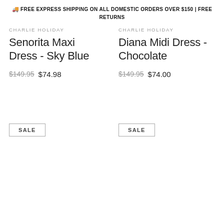🚚 FREE EXPRESS SHIPPING ON ALL DOMESTIC ORDERS OVER $150 | FREE RETURNS
CHARLIE HOLIDAY
Senorita Maxi Dress - Sky Blue
$149.95  $74.98
CHARLIE HOLIDAY
Diana Midi Dress - Chocolate
$149.95  $74.00
SALE
SALE